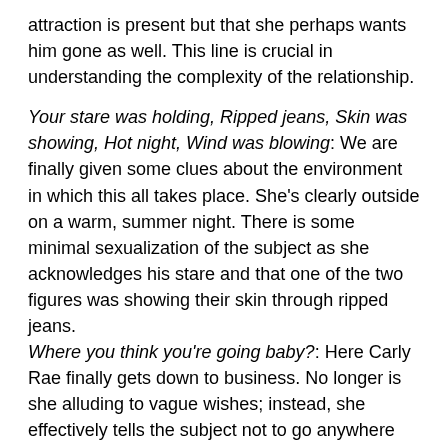attraction is present but that she perhaps wants him gone as well. This line is crucial in understanding the complexity of the relationship.
Your stare was holding, Ripped jeans, Skin was showing, Hot night, Wind was blowing: We are finally given some clues about the environment in which this all takes place. She's clearly outside on a warm, summer night. There is some minimal sexualization of the subject as she acknowledges his stare and that one of the two figures was showing their skin through ripped jeans. Where you think you're going baby?: Here Carly Rae finally gets down to business. No longer is she alluding to vague wishes; instead, she effectively tells the subject not to go anywhere and clarifies that she views him romantically by calling him "baby." This line is notable for the subtlety it employs to let the boy know that she is